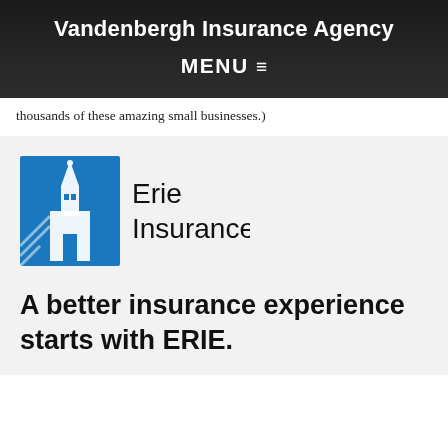Vandenbergh Insurance Agency
MENU ☰
thousands of these amazing small businesses.)
[Figure (logo): Erie Insurance logo — blue building/tower illustration on left, 'Erie Insurance®' text on right in black]
A better insurance experience starts with ERIE.